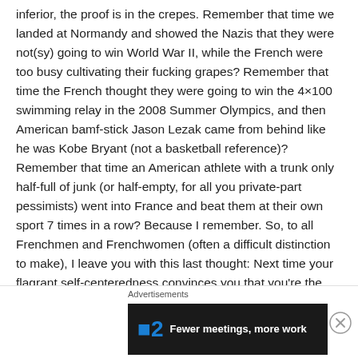inferior, the proof is in the crepes. Remember that time we landed at Normandy and showed the Nazis that they were not(sy) going to win World War II, while the French were too busy cultivating their fucking grapes? Remember that time the French thought they were going to win the 4×100 swimming relay in the 2008 Summer Olympics, and then American bamf-stick Jason Lezak came from behind like he was Kobe Bryant (not a basketball reference)? Remember that time an American athlete with a trunk only half-full of junk (or half-empty, for all you private-part pessimists) went into France and beat them at their own sport 7 times in a row? Because I remember. So, to all Frenchmen and Frenchwomen (often a difficult distinction to make), I leave you with this last thought: Next time your flagrant self-centeredness convinces you that you're the
Advertisements
[Figure (other): Dark advertisement banner showing '2' in blue and text 'Fewer meetings, more work']